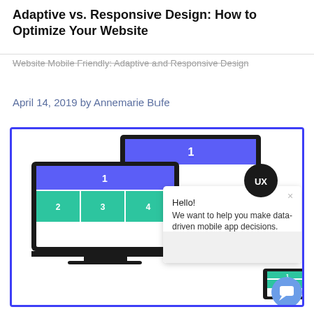Adaptive vs. Responsive Design: How to Optimize Your Website
Website Mobile Friendly: Adaptive and Responsive Design
April 14, 2019 by Annemarie Bufe
[Figure (illustration): Illustration showing adaptive vs responsive design across devices (laptop, desktop monitor, phone), with a chat popup saying 'Hello! We want to help you make data-driven mobile app decisions.' and a UX badge circle. The image is framed with a blue border.]